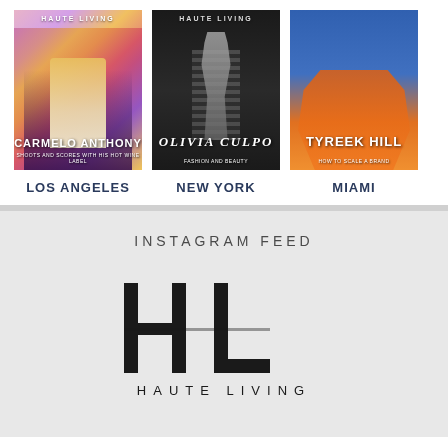[Figure (illustration): Three Haute Living magazine covers side by side: Los Angeles (Carmelo Anthony, colorful), New York (Olivia Culpo, black and white), Miami (Tyreek Hill, blue/orange)]
LOS ANGELES
NEW YORK
MIAMI
INSTAGRAM FEED
[Figure (logo): Haute Living logo — large HL letters with horizontal crossbar, and HAUTE LIVING text below]